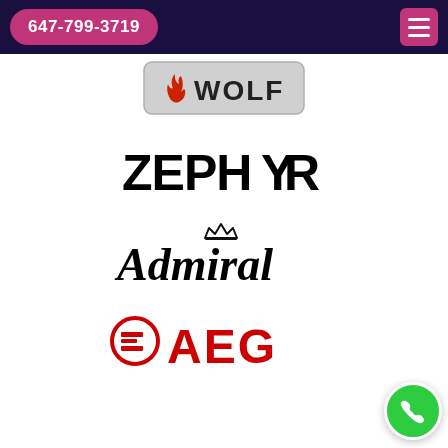647-799-3719
[Figure (logo): Wolf appliances logo — stylized shield/badge shape with flame icon and 'WOLF' text in block letters]
[Figure (logo): ZEPHYR logo in bold black sans-serif letters with stylized R]
[Figure (logo): Admiral logo in bold italic black serif script with crown above 'i']
[Figure (logo): AEG logo in red with Electrolux circle-E icon to the left of AEG text]